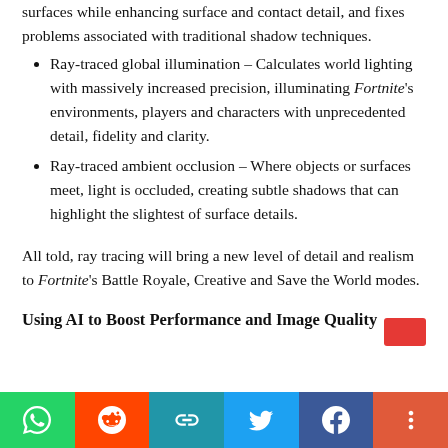surfaces while enhancing surface and contact detail, and fixes problems associated with traditional shadow techniques.
Ray-traced global illumination – Calculates world lighting with massively increased precision, illuminating Fortnite's environments, players and characters with unprecedented detail, fidelity and clarity.
Ray-traced ambient occlusion – Where objects or surfaces meet, light is occluded, creating subtle shadows that can highlight the slightest of surface details.
All told, ray tracing will bring a new level of detail and realism to Fortnite's Battle Royale, Creative and Save the World modes.
Using AI to Boost Performance and Image Quality